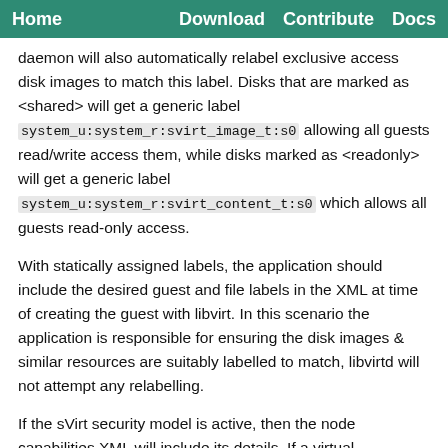Home   Download   Contribute   Docs
daemon will also automatically relabel exclusive access disk images to match this label. Disks that are marked as <shared> will get a generic label system_u:system_r:svirt_image_t:s0 allowing all guests read/write access them, while disks marked as <readonly> will get a generic label system_u:system_r:svirt_content_t:s0 which allows all guests read-only access.
With statically assigned labels, the application should include the desired guest and file labels in the XML at time of creating the guest with libvirt. In this scenario the application is responsible for ensuring the disk images & similar resources are suitably labelled to match, libvirtd will not attempt any relabelling.
If the sVirt security model is active, then the node capabilities XML will include its details. If a virtual